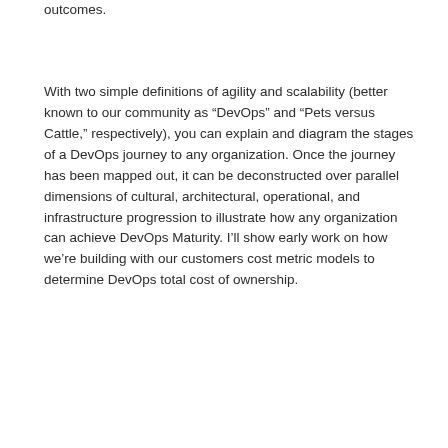outcomes.
With two simple definitions of agility and scalability (better known to our community as “DevOps” and “Pets versus Cattle,” respectively), you can explain and diagram the stages of a DevOps journey to any organization. Once the journey has been mapped out, it can be deconstructed over parallel dimensions of cultural, architectural, operational, and infrastructure progression to illustrate how any organization can achieve DevOps Maturity. I’ll show early work on how we’re building with our customers cost metric models to determine DevOps total cost of ownership.